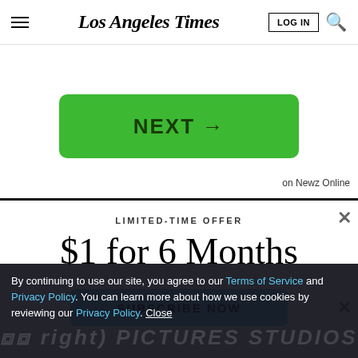Los Angeles Times
[Figure (screenshot): Green NEXT button with arrow]
on Newz Online
LIMITED-TIME OFFER
$1 for 6 Months
SUBSCRIBE NOW
By continuing to use our site, you agree to our Terms of Service and Privacy Policy. You can learn more about how we use cookies by reviewing our Privacy Policy. Close